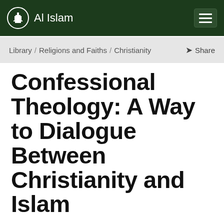Al Islam
Library / Religions and Faiths / Christianity  Share
Confessional Theology: A Way to Dialogue Between Christianity and Islam
Dr. George N. Malek
The Muslim Sunrise, Special Centenary Issue: March 23 (1889-1989)
Dr. Malek, an American citizen, was born a Coptic